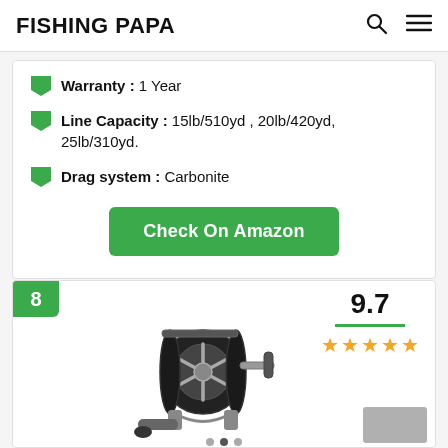FISHING PAPA
Warranty : 1 Year
Line Capacity : 15lb/510yd , 20lb/420yd, 25lb/310yd.
Drag system : Carbonite
Check On Amazon
[Figure (photo): Black fishing reel (baitcasting/trolling reel) with silver accents and handle, product photo on white background. Numbered badge '8' in green top-left corner. Score 9.7 with green underline and 5 orange stars top-right.]